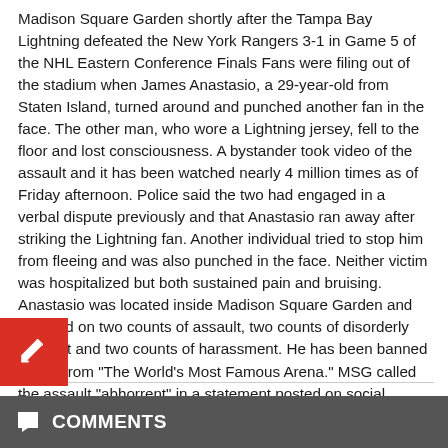Madison Square Garden shortly after the Tampa Bay Lightning defeated the New York Rangers 3-1 in Game 5 of the NHL Eastern Conference Finals Fans were filing out of the stadium when James Anastasio, a 29-year-old from Staten Island, turned around and punched another fan in the face. The other man, who wore a Lightning jersey, fell to the floor and lost consciousness. A bystander took video of the assault and it has been watched nearly 4 million times as of Friday afternoon. Police said the two had engaged in a verbal dispute previously and that Anastasio ran away after striking the Lightning fan. Another individual tried to stop him from fleeing and was also punched in the face. Neither victim was hospitalized but both sustained pain and bruising. Anastasio was located inside Madison Square Garden and arrested on two counts of assault, two counts of disorderly conduct and two counts of harassment. He has been banned for life from "The World's Most Famous Arena." MSG called the assault "abhorrent" in a statement posted on social media while saying the two victims received medical care. "All guests – no matter what team they support – should feel safe and respected in The Garden," MSG said. "This has and always will be our policy."
Tags:
COMMENTS